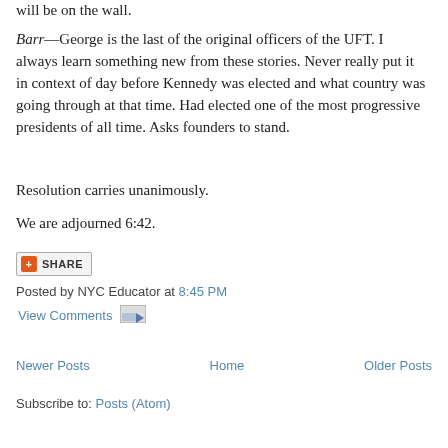will be on the wall.
Barr—George is the last of the original officers of the UFT. I always learn something new from these stories. Never really put it in context of day before Kennedy was elected and what country was going through at that time. Had elected one of the most progressive presidents of all time. Asks founders to stand.
Resolution carries unanimously.
We are adjourned 6:42.
[Figure (other): Share button with orange plus icon]
Posted by NYC Educator at 8:45 PM
View Comments [email icon]
Newer Posts   Home   Older Posts
Subscribe to: Posts (Atom)